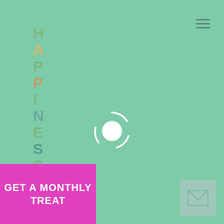HAPPINESS ADVENTURE
[Figure (illustration): Loading spinner: white circle with curved arc lines around it on mint green background]
GET A MONTHLY TREAT
[Figure (illustration): Email envelope icon on a muted teal/green square button in bottom right corner]